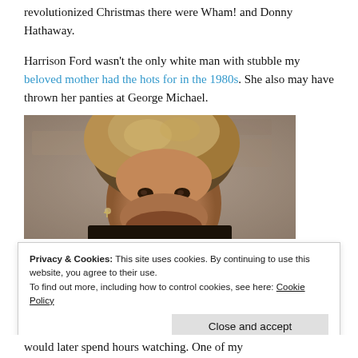revolutionized Christmas there were Wham! and Donny Hathaway.
Harrison Ford wasn't the only white man with stubble my beloved mother had the hots for in the 1980s. She also may have thrown her panties at George Michael.
[Figure (photo): Close-up photo of George Michael with voluminous 1980s hair against a stone background]
Privacy & Cookies: This site uses cookies. By continuing to use this website, you agree to their use.
To find out more, including how to control cookies, see here: Cookie Policy
Close and accept
would later spend hours watching. One of my